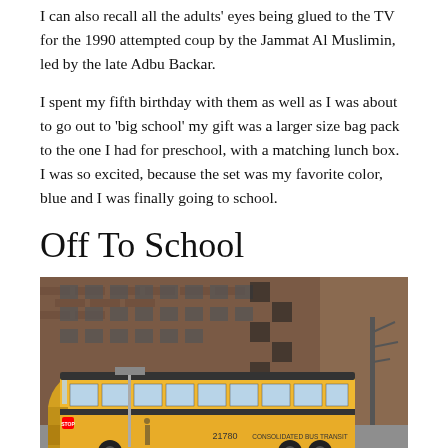I can also recall all the adults' eyes being glued to the TV for the 1990 attempted coup by the Jammat Al Muslimin, led by the late Adbu Backar.
I spent my fifth birthday with them as well as I was about to go out to 'big school' my gift was a larger size bag pack to the one I had for preschool, with a matching lunch box. I was so excited, because the set was my favorite color, blue and I was finally going to school.
Off To School
[Figure (photo): A yellow school bus parked on a city street in front of a brick apartment building. The bus reads 'CONSOLIDATED BUS TRANSIT' and has the number 21780. A stop sign is visible on the side of the bus.]